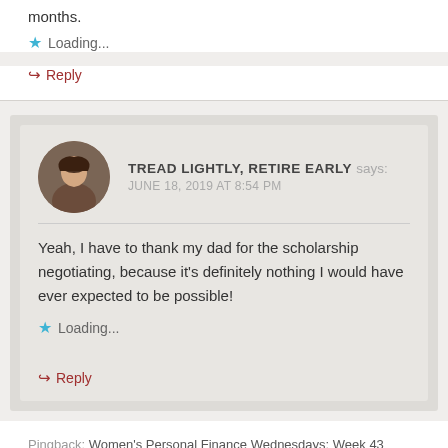months.
Loading...
Reply
TREAD LIGHTLY, RETIRE EARLY says: JUNE 18, 2019 AT 8:54 PM
Yeah, I have to thank my dad for the scholarship negotiating, because it's definitely nothing I would have ever expected to be possible!
Loading...
Reply
Pingback: Women's Personal Finance Wednesdays: Week 43 Roundup -